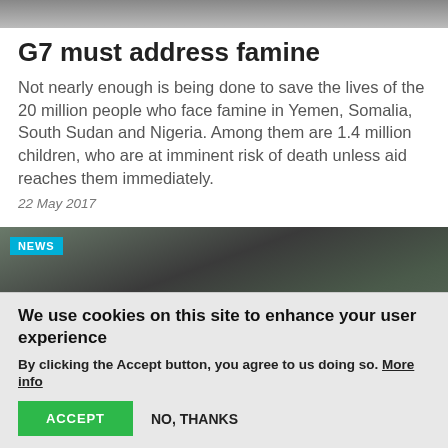[Figure (photo): Top portion of an image, partially visible at the top of the page]
G7 must address famine
Not nearly enough is being done to save the lives of the 20 million people who face famine in Yemen, Somalia, South Sudan and Nigeria. Among them are 1.4 million children, who are at imminent risk of death unless aid reaches them immediately.
22 May 2017
[Figure (photo): News photo with a 'NEWS' badge in the top left corner, showing a person carrying something on their head]
We use cookies on this site to enhance your user experience
By clicking the Accept button, you agree to us doing so. More info
ACCEPT   NO, THANKS